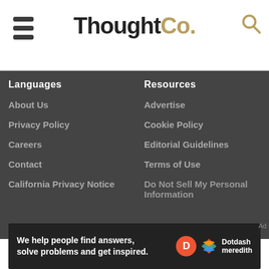ThoughtCo.
Languages
Resources
About Us
Privacy Policy
Careers
Contact
California Privacy Notice
Advertise
Cookie Policy
Editorial Guidelines
Terms of Use
Do Not Sell My Personal Information
[Figure (logo): Dotdash Meredith logo]
ThoughtCo is part of the Dotdash Meredith publishing family.
We've updated our Privacy Policy, which will go in to effect on September 1, 2022. Review our Privacy Policy
[Figure (screenshot): Dotdash Meredith ad banner: We help people find answers, solve problems and get inspired.]
Ad